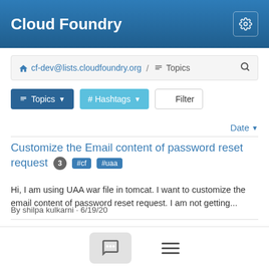Cloud Foundry
cf-dev@lists.cloudfoundry.org / Topics
Topics  # Hashtags  Filter
Date
Customize the Email content of password reset request  3  #cf  #uaa
Hi, I am using UAA war file in tomcat. I want to customize the email content of password reset request. I am not getting...
By shilpa kulkarni · 6/19/20
BOSH PMC: Quarks Project Lead call for Nominations  2  📎